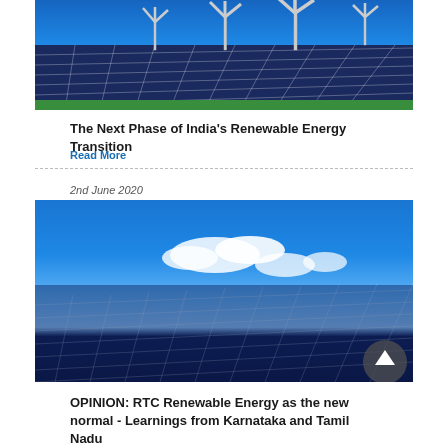[Figure (photo): Solar panels and wind turbines against a blue sky with green plants in the foreground]
The Next Phase of India’s Renewable Energy Transition
Read More
2nd June 2020
[Figure (photo): Close-up of large blue solar panels against a blue sky with clouds]
OPINION: RTC Renewable Energy as the new normal - Learnings from Karnataka and Tamil Nadu